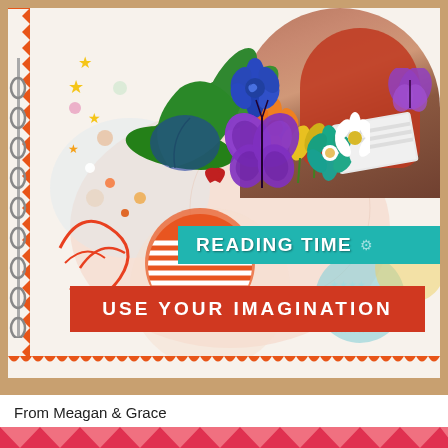[Figure (illustration): Digital scrapbook layout featuring a child in a red sweatshirt reading/looking at a photo album in the top right, with colorful floral and botanical decorations (green leaves, paper flowers in orange, blue, yellow, teal, white, and red), a butterfly decoration, decorative swirls, stars, circles and confetti elements scattered throughout. A teal ribbon banner reads 'READING TIME' and a red rectangular banner reads 'USE YOUR IMAGINATION'. The page has an orange zig-zag/scalloped border on the left and bottom, and a cream/linen background texture.]
From Meagan & Grace